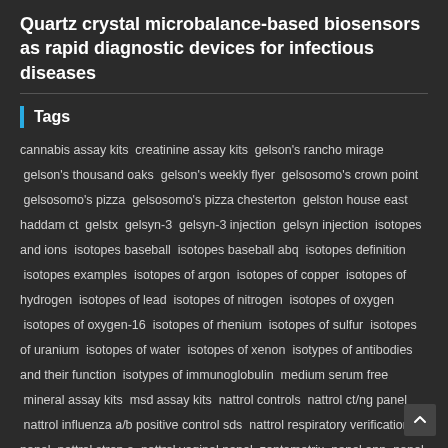Quartz crystal microbalance-based biosensors as rapid diagnostic devices for infectious diseases
Tags
cannabis assay kits creatinine assay kits gelson's rancho mirage gelson's thousand oaks gelson's weekly flyer gelsosomo's crown point gelsosomo's pizza gelsosomo's pizza chesterton gelston house east haddam ct gelstx gelsyn-3 gelsyn-3 injection gelsyn injection isotopes and ions isotopes baseball isotopes baseball abq isotopes definition isotopes examples isotopes of argon isotopes of copper isotopes of hydrogen isotopes of lead isotopes of nitrogen isotopes of oxygen isotopes of oxygen-16 isotopes of rhenium isotopes of sulfur isotopes of uranium isotopes of water isotopes of xenon isotypes of antibodies and their function isotypes of immunoglobulin medium serum free mineral assay kits msd assay kits nattrol controls nattrol ct/ng panel nattrol influenza a/b positive control sds nattrol respiratory verification panel nattrol strep a nattrol vaginal panel zeptometrix panel app panel beater panel beds panel champ